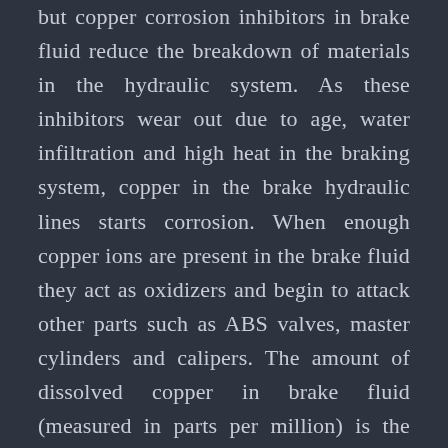but copper corrosion inhibitors in brake fluid reduce the breakdown of materials in the hydraulic system. As these inhibitors wear out due to age, water infiltration and high heat in the braking system, copper in the brake hydraulic lines starts corrosion. When enough copper ions are present in the brake fluid they act as oxidizers and begin to attack other parts such as ABS valves, master cylinders and calipers. The amount of dissolved copper in brake fluid (measured in parts per million) is the best indicator of its quality; 200ppm is generally considered the limit of brake fluid life.
It's also important to understand that the